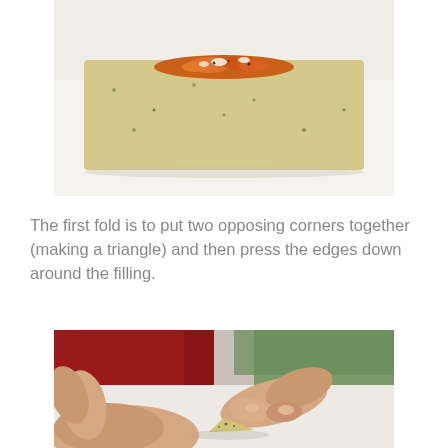[Figure (photo): A flatbread or cracker with colorful filling/topping placed on a white surface, viewed from above at an angle.]
The first fold is to put two opposing corners together (making a triangle) and then press the edges down around the filling.
[Figure (photo): Two hands pressing down on folded dough/cracker into a triangle shape on a white surface, demonstrating the folding technique.]